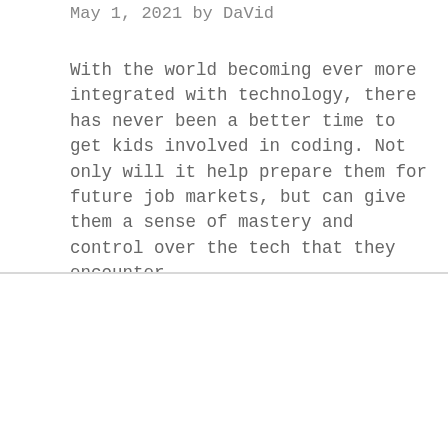May 1, 2021 by DaVid
With the world becoming ever more integrated with technology, there has never been a better time to get kids involved in coding. Not only will it help prepare them for future job markets, but can give them a sense of mastery and control over the tech that they encounter.
We use cookies on our website to give you the most relevant experience by remembering your preferences and repeat visits. See our Privacy Policy and Cookie Policy for more information. By clicking “Accept”, you consent to the use of all the cookies.
Cookie settings   ACCEPT